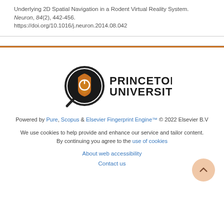Underlying 2D Spatial Navigation in a Rodent Virtual Reality System. Neuron, 84(2), 442-456. https://doi.org/10.1016/j.neuron.2014.08.042
[Figure (logo): Princeton University logo with magnifying glass icon and text]
Powered by Pure, Scopus & Elsevier Fingerprint Engine™ © 2022 Elsevier B.V
We use cookies to help provide and enhance our service and tailor content. By continuing you agree to the use of cookies
About web accessibility
Contact us